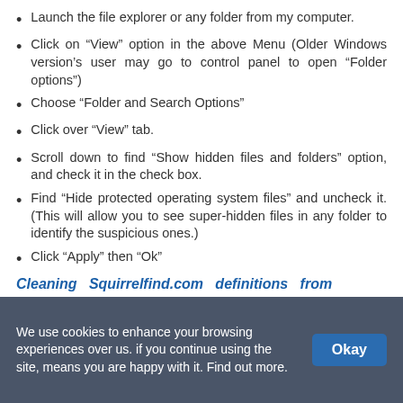Launch the file explorer or any folder from my computer.
Click on “View” option in the above Menu (Older Windows version’s user may go to control panel to open “Folder options”)
Choose “Folder and Search Options”
Click over “View” tab.
Scroll down to find “Show hidden files and folders” option, and check it in the check box.
Find “Hide protected operating system files” and uncheck it. (This will allow you to see super-hidden files in any folder to identify the suspicious ones.)
Click “Apply” then “Ok”
Cleaning Squirrelfind.com definitions from Windows registry
We use cookies to enhance your browsing experiences over us. if you continue using the site, means you are happy with it. Find out more.